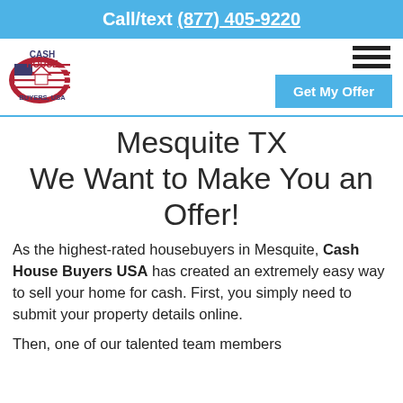Call/text (877) 405-9220
[Figure (logo): Cash House Buyers USA logo with US map and house icon]
Mesquite TX
We Want to Make You an Offer!
As the highest-rated housebuyers in Mesquite, Cash House Buyers USA has created an extremely easy way to sell your home for cash. First, you simply need to submit your property details online.
Then, one of our talented team members